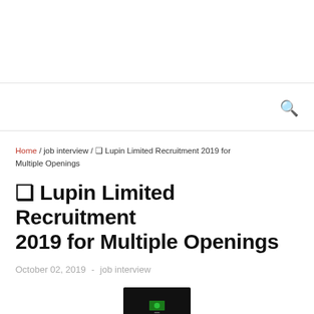Search
Home / job interview / ❏ Lupin Limited Recruitment 2019 for Multiple Openings
❏ Lupin Limited Recruitment 2019 for Multiple Openings
October 02, 2019  -  job interview
[Figure (screenshot): Small dark thumbnail image at the bottom of the page]